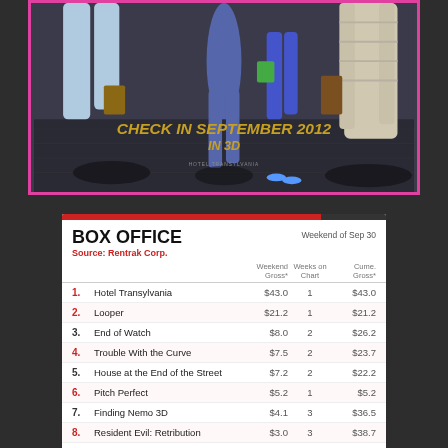[Figure (photo): Movie poster for Hotel Transylvania showing characters from overhead view with text 'CHECK IN SEPTEMBER 2012 IN 3D', bordered in pink/magenta]
|  | Movie | Weekend Gross* | Weeks on Chart | Cume. Gross* |
| --- | --- | --- | --- | --- |
| 1. | Hotel Transylvania | $43.0 | 1 | $43.0 |
| 2. | Looper | $21.2 | 1 | $21.2 |
| 3. | End of Watch | $8.0 | 2 | $26.2 |
| 4. | Trouble With the Curve | $7.5 | 2 | $23.7 |
| 5. | House at the End of the Street | $7.2 | 2 | $22.2 |
| 6. | Pitch Perfect | $5.2 | 1 | $5.2 |
| 7. | Finding Nemo 3D | $4.1 | 3 | $36.5 |
| 8. | Resident Evil: Retribution | $3.0 | 3 | $38.7 |
| 9. | The Master | $2.7 | 3 | $9.6 |